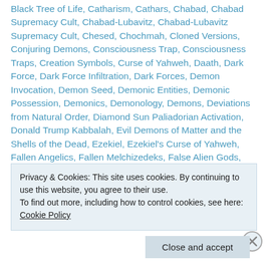Black Tree of Life, Catharism, Cathars, Chabad, Chabad Supremacy Cult, Chabad-Lubavitz, Chabad-Lubavitz Supremacy Cult, Chesed, Chochmah, Cloned Versions, Conjuring Demons, Consciousness Trap, Consciousness Traps, Creation Symbols, Curse of Yahweh, Daath, Dark Force, Dark Force Infiltration, Dark Forces, Demon Invocation, Demon Seed, Demonic Entities, Demonic Possession, Demonics, Demonology, Demons, Deviations from Natural Order, Diamond Sun Paliadorian Activation, Donald Trump Kabbalah, Evil Demons of Matter and the Shells of the Dead, Ezekiel, Ezekiel's Curse of Yahweh, Fallen Angelics, Fallen Melchizedeks, False Alien Gods, False
Privacy & Cookies: This site uses cookies. By continuing to use this website, you agree to their use.
To find out more, including how to control cookies, see here: Cookie Policy
Close and accept